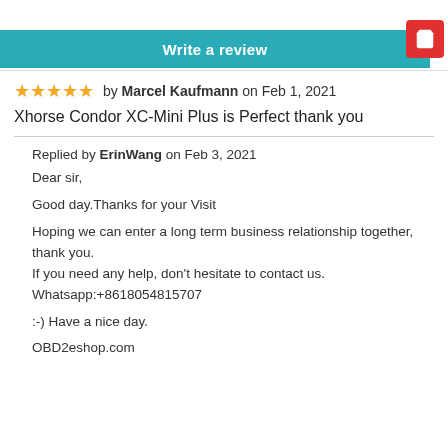OBD2eShOp — Write a review
★★★★★ by Marcel Kaufmann on Feb 1, 2021
Xhorse Condor XC-Mini Plus is Perfect thank you
Replied by ErinWang on Feb 3, 2021
Dear sir,

Good day.Thanks for your Visit

Hoping we can enter a long term business relationship together, thank you.
If you need any help, don't hesitate to contact us.
Whatsapp:+8618054815707

:-) Have a nice day.

OBD2eshop.com